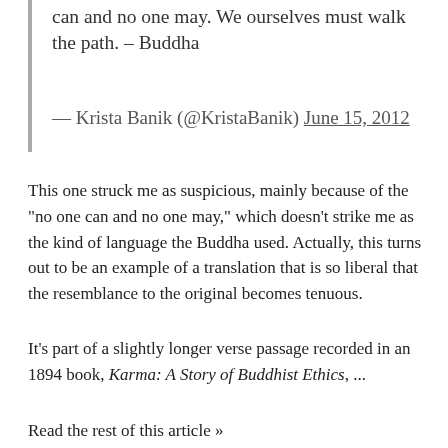can and no one may. We ourselves must walk the path. – Buddha
— Krista Banik (@KristaBanik) June 15, 2012
This one struck me as suspicious, mainly because of the “no one can and no one may,” which doesn’t strike me as the kind of language the Buddha used. Actually, this turns out to be an example of a translation that is so liberal that the resemblance to the original becomes tenuous.
It’s part of a slightly longer verse passage recorded in an 1894 book, Karma: A Story of Buddhist Ethics, ...
Read the rest of this article »